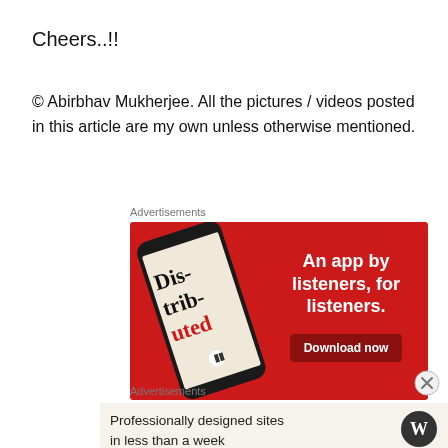Cheers..!!
© Abirbhav Mukherjee. All the pictures / videos posted in this article are my own unless otherwise mentioned.
Advertisements
[Figure (screenshot): Advertisement banner on red background showing a podcast app with text 'An app by listeners, for listeners.' and a 'Download now' button, alongside a phone displaying 'Distributed' podcast]
[Figure (logo): Close button (X in circle)]
Advertisements
[Figure (screenshot): WordPress advertisement: 'Professionally designed sites in less than a week' with WordPress logo]